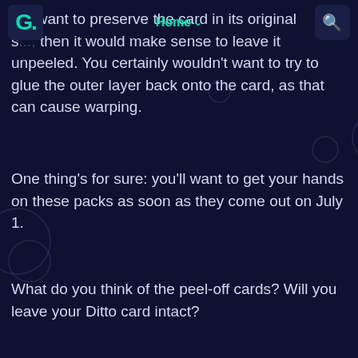Home
ou want to preserve the card in its original s..., then it would make sense to leave it unpeeled. You certainly wouldn't want to try to glue the outer layer back onto the card, as that can cause warping.
One thing's for sure: you'll want to get your hands on these packs as soon as they come out on July 1.
What do you think of the peel-off cards? Will you leave your Ditto card intact?
YOU MAY ALSO LIKE
By MikeBedard | Aug 16, 2022
Pokemon Card Thief Hid $70,000 In Cards At His Mom's House